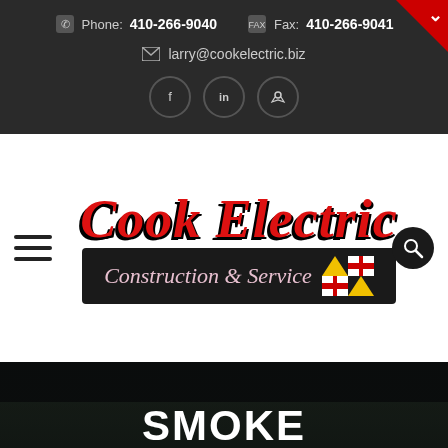Phone: 410-266-9040  Fax: 410-266-9041  larry@cookelectric.biz
[Figure (logo): Cook Electric Construction & Service logo with red italic text and Maryland flag icon]
SMOKE DETECTORS
Home / Blog / Smoke Detectors